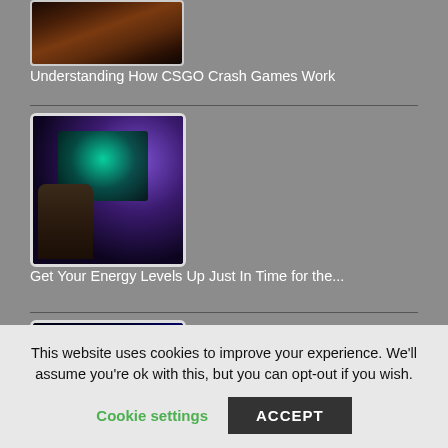[Figure (photo): Partial thumbnail of a dark/warm-toned image (partially cropped at top)]
Understanding How CSGO Crash Games Work
[Figure (photo): Person sitting at a gaming PC with a large monitor displaying a space game, purple/teal ambient lighting]
Get Your Energy Levels Up Just In Time for the...
[Figure (photo): Star Wars branded image with Darth Vader silhouette, partially visible at bottom]
This website uses cookies to improve your experience. We'll assume you're ok with this, but you can opt-out if you wish.
Cookie settings
ACCEPT